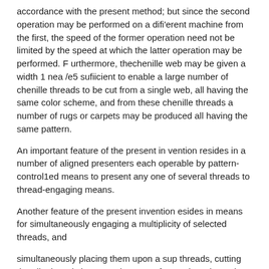accordance with the present method; but since the second operation may be performed on a different machine from the first, the speed of the former operation need not be limited by the speed at which the latter operation may be performed. Furthermore, thechenille web may be given a width 1 nea /e5 sufficient to enable a large number of chenille threads to be cut from a single web, all having the same color scheme, and from these chenille threads a number of rugs or carpets may be produced all having the same pattern.
An important feature of the present in vention resides in a number of aligned presenters each operable by pattern-control1ed means to present any one of several threads to thread-engaging means.
Another feature of the present invention esides in means for simultaneously engaging a multiplicity of selected threads, and
simultaneously placing them upon a sup threads, cutting the pile threads between the rows of warp threads, and twisting the warp threads to bind each cut thread to the 3v rn threads as the former is cut.